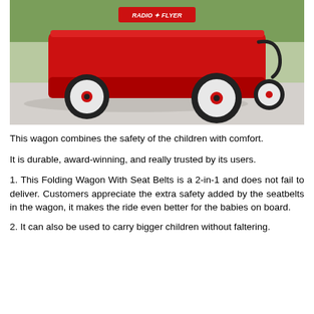[Figure (photo): A red Radio Flyer wagon with large black and white wheels photographed from the side on a concrete surface with grass in the background. The Radio Flyer logo is visible on the red body.]
This wagon combines the safety of the children with comfort.
It is durable, award-winning, and really trusted by its users.
1. This Folding Wagon With Seat Belts is a 2-in-1 and does not fail to deliver. Customers appreciate the extra safety added by the seatbelts in the wagon, it makes the ride even better for the babies on board.
2. It can also be used to carry bigger children without faltering.